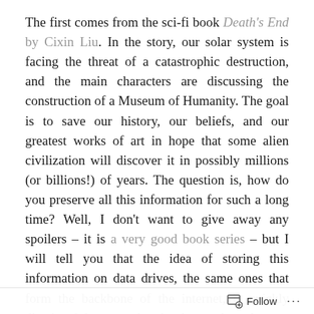The first comes from the sci-fi book Death's End by Cixin Liu. In the story, our solar system is facing the threat of a catastrophic destruction, and the main characters are discussing the construction of a Museum of Humanity. The goal is to save our history, our beliefs, and our greatest works of art in hope that some alien civilization will discover it in possibly millions (or billions!) of years. The question is, how do you preserve all this information for such a long time? Well, I don't want to give away any spoilers – it is a very good book series – but I will tell you that the idea of storing this information on data drives, the same ones that form the backbone of the internet, is quickly dismissed because that hardware degrades too fast.
The second anecdote – and the reason I decided to write this piece – started when I began to re-read a few